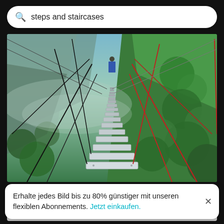steps and staircases
[Figure (photo): Rear view of a person on a suspended rope staircase bridge over a lush green mountain valley, with black and red ropes on the sides and white wooden steps leading upward into mist.]
Rear view of men on staircase by mountain
[Figure (photo): Partially visible second image, showing a light grey/beige surface, cropped.]
Erhalte jedes Bild bis zu 80% günstiger mit unseren flexiblen Abonnements. Jetzt einkaufen.